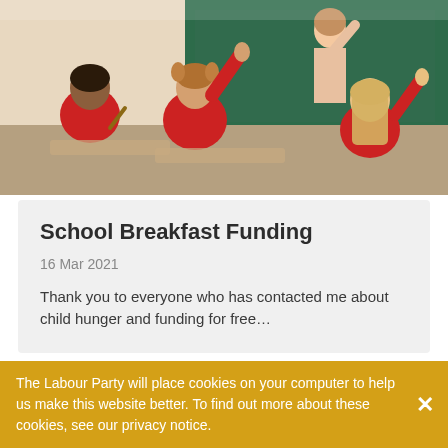[Figure (photo): Classroom photo showing children in red school uniforms seated at desks with hands raised, and a teacher writing on a green chalkboard in the background.]
School Breakfast Funding
16 Mar 2021
Thank you to everyone who has contacted me about child hunger and funding for free…
[Figure (logo): Government/Labour Party royal coat of arms logo with blue vertical bar]
The Labour Party will place cookies on your computer to help us make this website better. To find out more about these cookies, see our privacy notice.